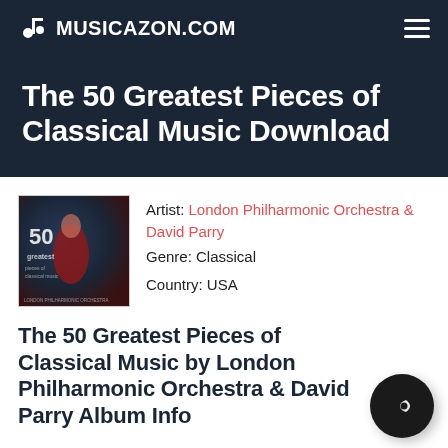MUSICAZON.COM
The 50 Greatest Pieces of Classical Music Download
[Figure (photo): Album cover for The 50 Greatest Pieces of Classical Music showing a musician with a cello against a dark blue background with '50 greatest' text overlay]
Artist: London Philharmonic Orchestra & David Parry
Genre: Classical
Country: USA
The 50 Greatest Pieces of Classical Music by London Philharmonic Orchestra & David Parry Album Info